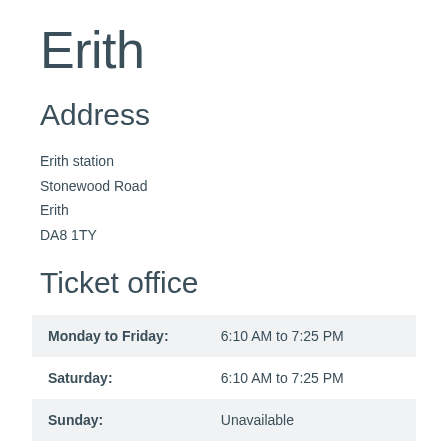Erith
Address
Erith station
Stonewood Road
Erith
DA8 1TY
Ticket office
| Day | Hours |
| --- | --- |
| Monday to Friday: | 6:10 AM to 7:25 PM |
| Saturday: | 6:10 AM to 7:25 PM |
| Sunday: | Unavailable |